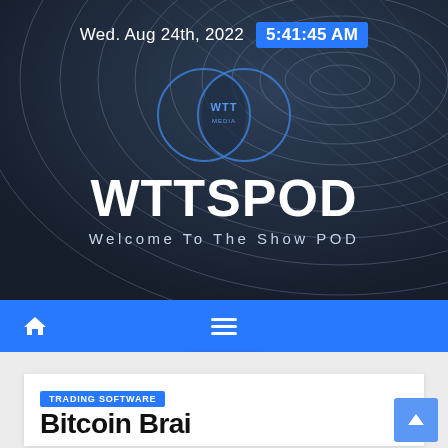Wed. Aug 24th, 2022   5:41:45 AM
WTTSPOD
Welcome To The Show POD
[Figure (logo): WTT circular logo with two overlapping circles and WTT text in center]
TRADING SOFTWARE
Bitcoin Brai...